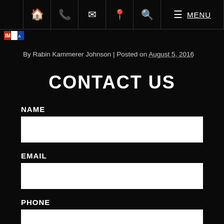Navigation bar with home, phone, email, location, search, menu icons and MENU text
[Figure (logo): Small colorful logo/badge in top left area]
By Rabin Kammerer Johnson | Posted on August 5, 2016
CONTACT US
NAME
EMAIL
PHONE
MESSAGE